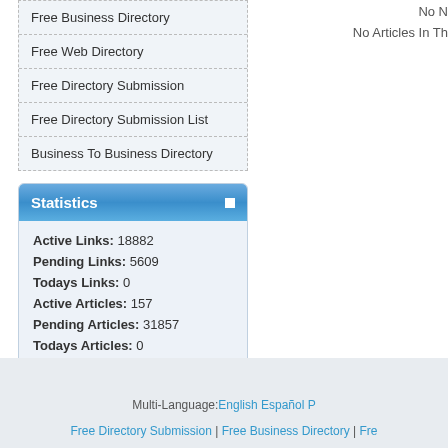Free Business Directory
Free Web Directory
Free Directory Submission
Free Directory Submission List
Business To Business Directory
Statistics
Active Links: 18882
Pending Links: 5609
Todays Links: 0
Active Articles: 157
Pending Articles: 31857
Todays Articles: 0
Total Categories: 28
Sub Categories: 4668
No N
No Articles In Th
Multi-Language: English Español P
Free Directory Submission | Free Business Directory | Fre